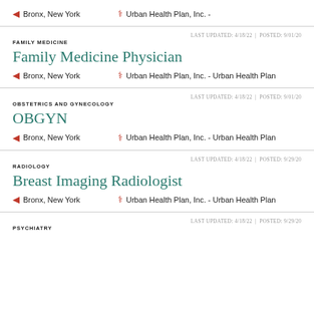Bronx, New York | Urban Health Plan, Inc. -
FAMILY MEDICINE | LAST UPDATED: 4/18/22 | POSTED: 9/01/20 | Family Medicine Physician | Bronx, New York | Urban Health Plan, Inc. - Urban Health Plan
OBSTETRICS AND GYNECOLOGY | LAST UPDATED: 4/18/22 | POSTED: 9/01/20 | OBGYN | Bronx, New York | Urban Health Plan, Inc. - Urban Health Plan
RADIOLOGY | LAST UPDATED: 4/18/22 | POSTED: 9/29/20 | Breast Imaging Radiologist | Bronx, New York | Urban Health Plan, Inc. - Urban Health Plan
PSYCHIATRY | LAST UPDATED: 4/18/22 | POSTED: 9/29/20